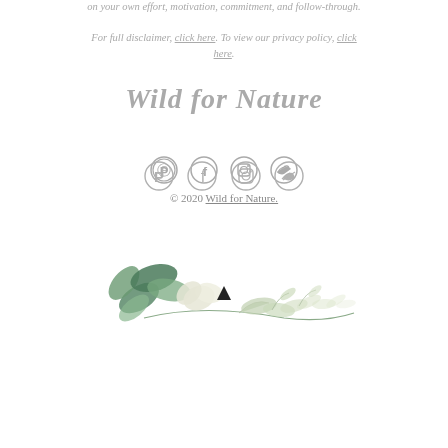on your own effort, motivation, commitment, and follow-through.
For full disclaimer, click here. To view our privacy policy, click here.
Wild for Nature
[Figure (infographic): Social media icons: Pinterest, Facebook, Instagram, Twitter in gray]
© 2020 Wild for Nature.
[Figure (illustration): Watercolor botanical illustration of green leaves and branches arranged horizontally, with a small black triangle in the center]